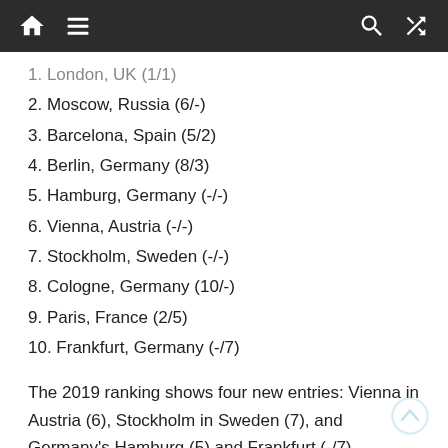Navigation bar with home, menu, search, and shuffle icons
1. London, UK (1/1)
2. Moscow, Russia (6/-)
3. Barcelona, Spain (5/2)
4. Berlin, Germany (8/3)
5. Hamburg, Germany (-/-)
6. Vienna, Austria (-/-)
7. Stockholm, Sweden (-/-)
8. Cologne, Germany (10/-)
9. Paris, France (2/5)
10. Frankfurt, Germany (-/7)
The 2019 ranking shows four new entries: Vienna in Austria (6), Stockholm in Sweden (7), and Germany's Hamburg (5) and Frankfurt (-/7), returning to the top ten ranking after dropping out in 2018. Meanwhile, Madrid (9/6) is off the 2019 list, too.